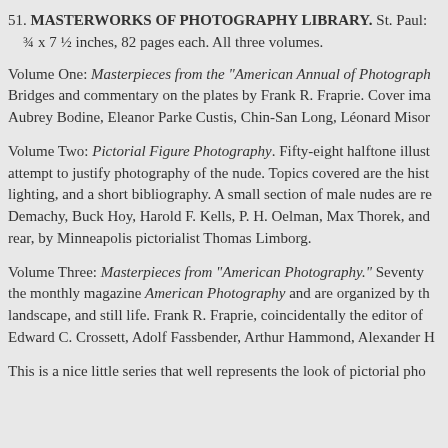51. MASTERWORKS OF PHOTOGRAPHY LIBRARY. St. Paul: ¾ x 7 ½ inches, 82 pages each. All three volumes.
Volume One: Masterpieces from the "American Annual of Photography". Bridges and commentary on the plates by Frank R. Fraprie. Cover ima Aubrey Bodine, Eleanor Parke Custis, Chin-San Long, Léonard Mison
Volume Two: Pictorial Figure Photography. Fifty-eight halftone illust attempt to justify photography of the nude. Topics covered are the hist lighting, and a short bibliography. A small section of male nudes are re Demachy, Buck Hoy, Harold F. Kells, P. H. Oelman, Max Thorek, and rear, by Minneapolis pictorialist Thomas Limborg.
Volume Three: Masterpieces from "American Photography." Seventy the monthly magazine American Photography and are organized by th landscape, and still life. Frank R. Fraprie, coincidentally the editor of Edward C. Crossett, Adolf Fassbender, Arthur Hammond, Alexander H
This is a nice little series that well represents the look of pictorial pho